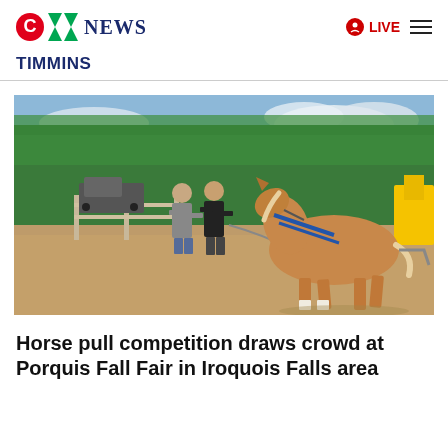CTV News | LIVE
TIMMINS
[Figure (photo): Outdoor horse pull competition at Porquis Fall Fair. A large draft horse in harness strains forward while handlers guide it across a dirt arena. Green trees in background, wooden fence, parked truck and yellow equipment visible.]
Horse pull competition draws crowd at Porquis Fall Fair in Iroquois Falls area